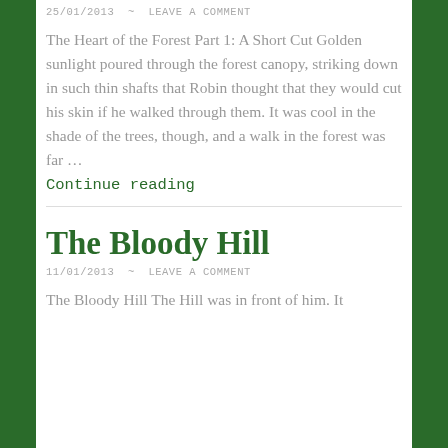25/01/2013 ~ LEAVE A COMMENT
The Heart of the Forest Part 1: A Short Cut Golden sunlight poured through the forest canopy, striking down in such thin shafts that Robin thought that they would cut his skin if he walked through them. It was cool in the shade of the trees, though, and a walk in the forest was far … Continue reading
The Bloody Hill
11/01/2013 ~ LEAVE A COMMENT
The Bloody Hill The Hill was in front of him. It